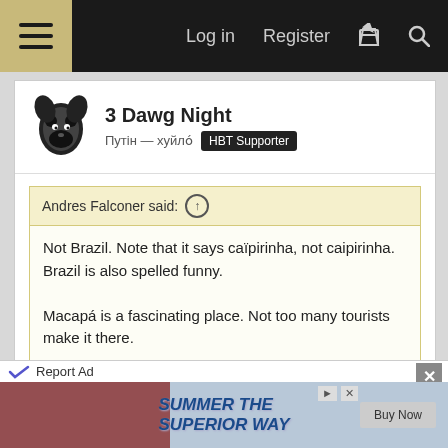Log in  Register
3 Dawg Night
Путін — хуйло́  HBT Supporter
Andres Falconer said: ↑
Not Brazil. Note that it says caïpirinha, not caipirinha. Brazil is also spelled funny.

Macapá is a fascinating place. Not too many tourists make it there.
OK, educate me. What's the significance of "ï" vs "i"?

And I noticed that Brazil is spelled "Brasil," which is the Portuguese spelling, right?
Report Ad
SUMMER THE SUPERIOR WAY  Buy Now